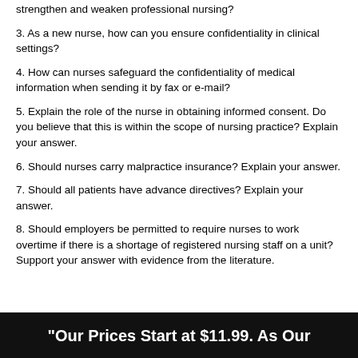strengthen and weaken professional nursing?
3. As a new nurse, how can you ensure confidentiality in clinical settings?
4. How can nurses safeguard the confidentiality of medical information when sending it by fax or e-mail?
5. Explain the role of the nurse in obtaining informed consent. Do you believe that this is within the scope of nursing practice? Explain your answer.
6. Should nurses carry malpractice insurance? Explain your answer.
7. Should all patients have advance directives? Explain your answer.
8. Should employers be permitted to require nurses to work overtime if there is a shortage of registered nursing staff on a unit? Support your answer with evidence from the literature.
"Our Prices Start at $11.99. As Our